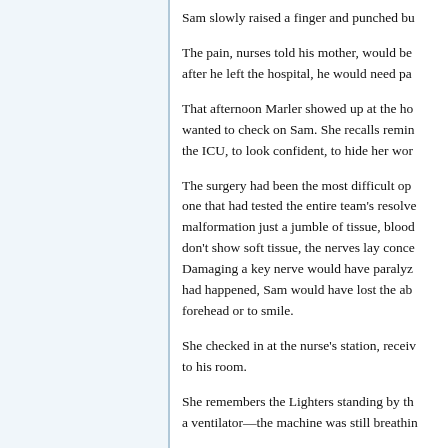Sam slowly raised a finger and punched bu...
The pain, nurses told his mother, would be... after he left the hospital, he would need pa...
That afternoon Marler showed up at the ho... wanted to check on Sam. She recalls remin... the ICU, to look confident, to hide her wor...
The surgery had been the most difficult op... one that had tested the entire team's resolv... malformation just a jumble of tissue, bloo... don't show soft tissue, the nerves lay conc... Damaging a key nerve would have paralyz... had happened, Sam would have lost the ab... forehead or to smile.
She checked in at the nurse's station, recei... to his room.
She remembers the Lighters standing by th... a ventilator—the machine was still breathi...